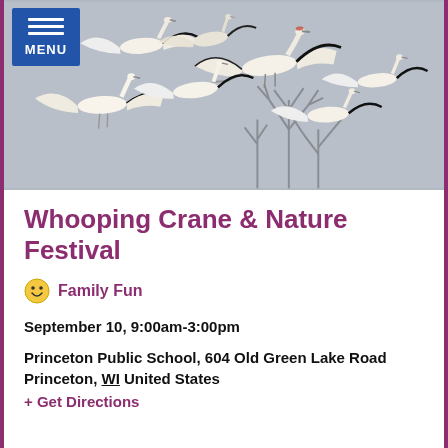[Figure (photo): Flock of whooping cranes flying in formation against a grey cloudy sky with bare winter trees in the background. A blue MENU button overlay is in the top-left corner.]
Whooping Crane & Nature Festival
😊 Family Fun
September 10, 9:00am-3:00pm
Princeton Public School, 604 Old Green Lake Road
Princeton, WI United States
+ Get Directions